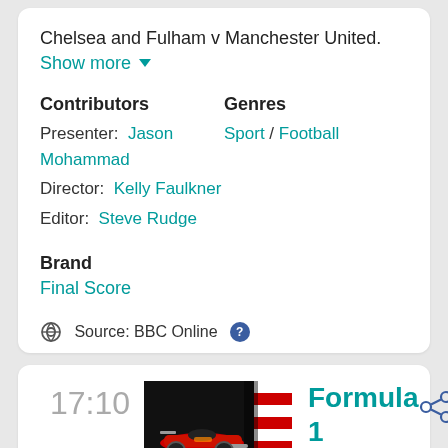Chelsea and Fulham v Manchester United. Show more ▼
Contributors
Presenter: Jason Mohammad
Director: Kelly Faulkner
Editor: Steve Rudge
Genres
Sport / Football
Brand
Final Score
Source: BBC Online ?
17:10
[Figure (photo): Formula 1 race car on track, dark background with red and white striped barriers]
Formula 1
2013. The Abu